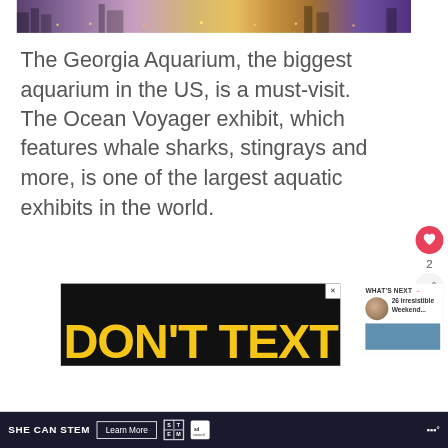[Figure (photo): Aerial/street view cityscape photo with purple and amber tones, city lights at dusk or night]
The Georgia Aquarium, the biggest aquarium in the US, is a must-visit. The Ocean Voyager exhibit, which features whale sharks, stingrays and more, is one of the largest aquatic exhibits in the world.
[Figure (screenshot): Advertisement with black background showing DON'T TEXT in large yellow bold letters, with close button]
[Figure (screenshot): What's Next sidebar showing 26 Irresistible Weekend... with circular thumbnail]
[Figure (infographic): Bottom banner advertisement: SHE CAN STEM, Learn More button, STEM logo, Ad Council logo]